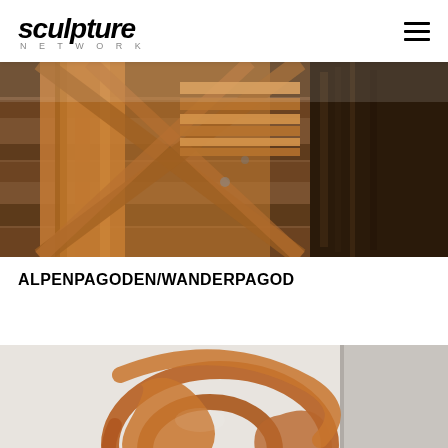sculpture NETWORK
[Figure (photo): Close-up photo of wooden sculpture with layered cross-hatch timber construction, viewed from below, warm brown tones with natural wood grain and metal hardware visible.]
ALPENPAGODEN/WANDERPAGOD
[Figure (photo): Photo of a large abstract Corten steel sculpture with flowing curved ribbon-like loops, orange-brown rusted finish, set against a concrete column outdoors.]